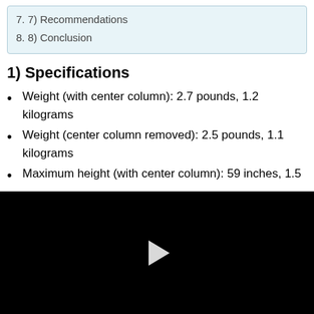7. 7) Recommendations
8. 8) Conclusion
1) Specifications
Weight (with center column): 2.7 pounds, 1.2 kilograms
Weight (center column removed): 2.5 pounds, 1.1 kilograms
Maximum height (with center column): 59 inches, 1.5
[Figure (other): Black video player area with a white play button triangle in the center]